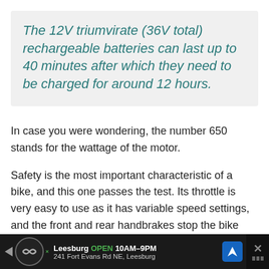The 12V triumvirate (36V total) rechargeable batteries can last up to 40 minutes after which they need to be charged for around 12 hours.
In case you were wondering, the number 650 stands for the wattage of the motor.
Safety is the most important characteristic of a bike, and this one passes the test. Its throttle is very easy to use as it has variable speed settings, and the front and rear handbrakes stop the bike immediately. The latter is due to a dual disc braking system which is very responsive.
[Figure (other): Advertisement bar: Leesburg OPEN 10AM-9PM, 241 Fort Evans Rd NE, Leesburg with navigation icon and close button]